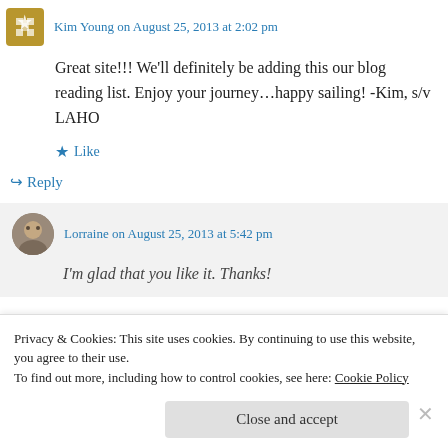Kim Young on August 25, 2013 at 2:02 pm
Great site!!! We'll definitely be adding this our blog reading list. Enjoy your journey…happy sailing! -Kim, s/v LAHO
Like
Reply
Lorraine on August 25, 2013 at 5:42 pm
I'm glad that you like it. Thanks!
Privacy & Cookies: This site uses cookies. By continuing to use this website, you agree to their use.
To find out more, including how to control cookies, see here: Cookie Policy
Close and accept